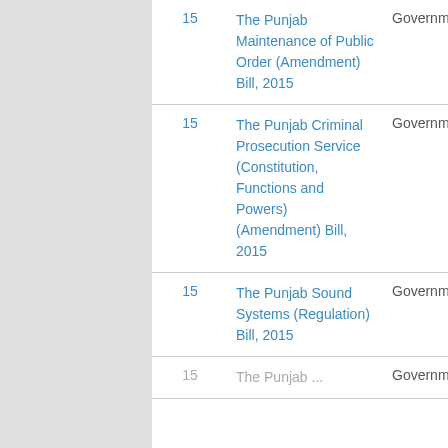|  | Bill Name | Type |  |
| --- | --- | --- | --- |
| 15 | The Punjab Maintenance of Public Order (Amendment) Bill, 2015 | Government | P |
| 15 | The Punjab Criminal Prosecution Service (Constitution, Functions and Powers) (Amendment) Bill, 2015 | Government | P |
| 15 | The Punjab Sound Systems (Regulation) Bill, 2015 | Government | P |
| 15 | The Punjab ... | Government | P |